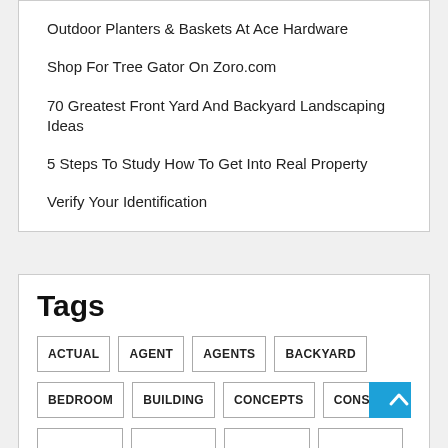Outdoor Planters & Baskets At Ace Hardware
Shop For Tree Gator On Zoro.com
70 Greatest Front Yard And Backyard Landscaping Ideas
5 Steps To Study How To Get Into Real Property
Verify Your Identification
Tags
ACTUAL  AGENT  AGENTS  BACKYARD  BEDROOM  BUILDING  CONCEPTS  CONSTRUCT...